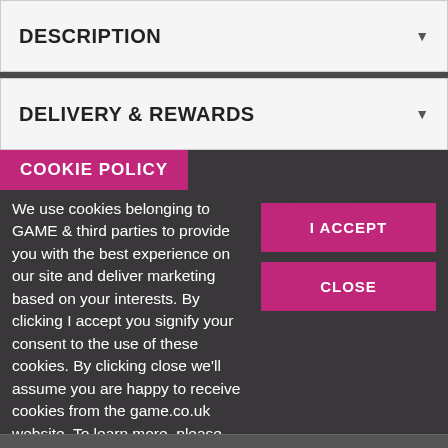DESCRIPTION
DELIVERY & REWARDS
COOKIE POLICY
We use cookies belonging to GAME & third parties to provide you with the best experience on our site and deliver marketing based on your interests. By clicking I accept you signify your consent to the use of these cookies. By clicking close we'll assume you are happy to receive cookies from the game.co.uk website. To learn more, please see our COOKIE POLICY.
I ACCEPT
CLOSE
Customer Services
Company Information